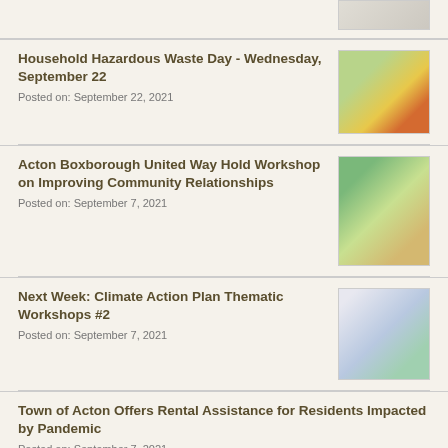[Figure (photo): Partial view of a document thumbnail at top of page]
Household Hazardous Waste Day - Wednesday, September 22
Posted on: September 22, 2021
[Figure (photo): Photo of household hazardous waste products including bottles and containers]
Acton Boxborough United Way Hold Workshop on Improving Community Relationships
Posted on: September 7, 2021
[Figure (photo): Photo of people sitting at tables in a workshop setting]
Next Week: Climate Action Plan Thematic Workshops #2
Posted on: September 7, 2021
[Figure (photo): Flyer for Climate Action Plan Thematic Workshops]
Town of Acton Offers Rental Assistance for Residents Impacted by Pandemic
Posted on: September 7, 2021
Town of Acton Invites Community to
[Figure (photo): Partial photo at bottom of page]